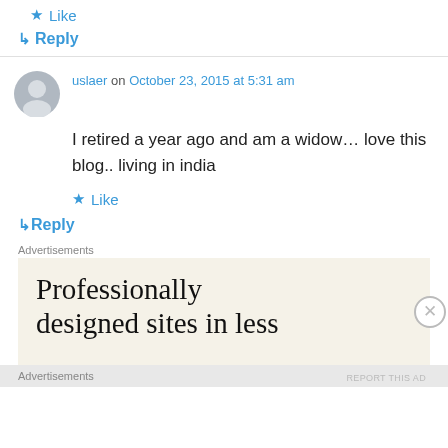★ Like
↳ Reply
uslaer on October 23, 2015 at 5:31 am
I retired a year ago and am a widow… love this blog.. living in india
★ Like
↳ Reply
Advertisements
[Figure (screenshot): Advertisement banner with text 'Professionally designed sites in less']
Advertisements